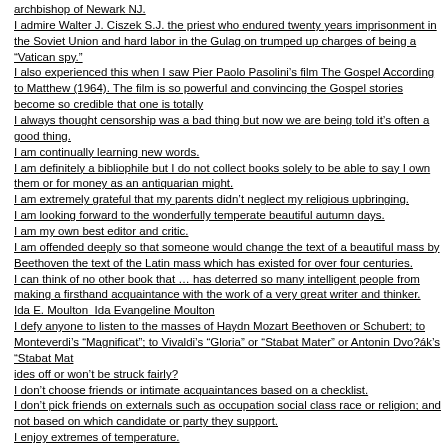archbishop of Newark NJ.
I admire Walter J. Ciszek S.J. the priest who endured twenty years imprisonment in the Soviet Union and hard labor in the Gulag on trumped up charges of being a “Vatican spy.”
I also experienced this when I saw Pier Paolo Pasolini’s film The Gospel According to Matthew (1964). The film is so powerful and convincing the Gospel stories become so credible that one is totally
I always thought censorship was a bad thing but now we are being told it’s often a good thing.
I am continually learning new words.
I am definitely a bibliophile but I do not collect books solely to be able to say I own them or for money as an antiquarian might.
I am extremely grateful that my parents didn’t neglect my religious upbringing.
I am looking forward to the wonderfully temperate beautiful autumn days.
I am my own best editor and critic.
I am offended deeply so that someone would change the text of a beautiful mass by Beethoven the text of the Latin mass which has existed for over four centuries.
I can think of no other book that … has deterred so many intelligent people from making a firsthand acquaintance with the work of a very great writer and thinker.
Ida E. Moulton  Ida Evangeline Moulton
I defy anyone to listen to the masses of Haydn Mozart Beethoven or Schubert; to Monteverdi’s “Magnificat”; to Vivaldi’s “Gloria” or “Stabat Mater” or Antonin Dvo?ak’s “Stabat Mat
ides off or won’t be struck fairly?
I don’t choose friends or intimate acquaintances based on a checklist.
I don’t pick friends on externals such as occupation social class race or religion; and not based on which candidate or party they support.
I enjoy extremes of temperature.
I enjoy extremes of temperature. I like to experience them.
I experienced a sort of "street shock": everyone seemed in such a hurry; the people on the subways looked kind of pale and pasty; no one seemed